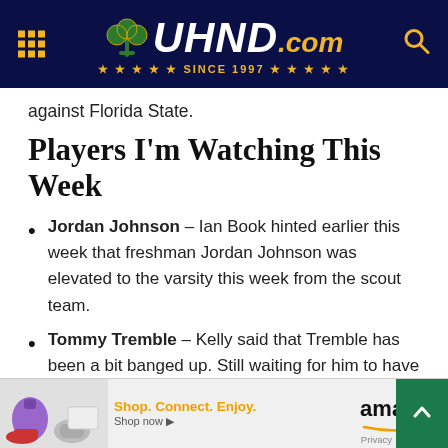UHND.com — Since 1997
against Florida State.
Players I'm Watching This Week
Jordan Johnson – Ian Book hinted earlier this week that freshman Jordan Johnson was elevated to the varsity this week from the scout team.
Tommy Tremble – Kelly said that Tremble has been a bit banged up. Still waiting for him to have a breakout performance this ...will
[Figure (logo): Amazon advertisement banner: Shop. Connect. Enjoy. Shop now arrow. Amazon logo with smile. Privacy label. Green scroll-to-top button.]